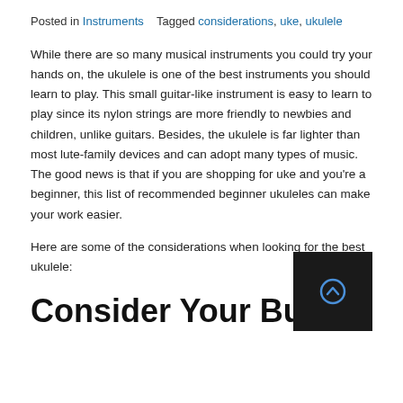Posted in Instruments    Tagged considerations, uke, ukulele
While there are so many musical instruments you could try your hands on, the ukulele is one of the best instruments you should learn to play. This small guitar-like instrument is easy to learn to play since its nylon strings are more friendly to newbies and children, unlike guitars. Besides, the ukulele is far lighter than most lute-family devices and can adopt many types of music. The good news is that if you are shopping for uke and you're a beginner, this list of recommended beginner ukuleles can make your work easier.
Here are some of the considerations when looking for the best ukulele:
Consider Your Budget
[Figure (other): Dark scroll-to-top button with upward arrow icon]